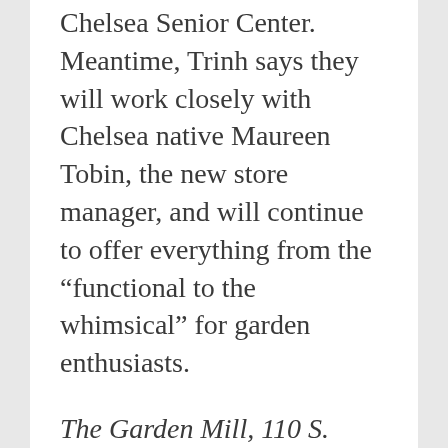Chelsea Senior Center. Meantime, Trinh says they will work closely with Chelsea native Maureen Tobin, the new store manager, and will continue to offer everything from the “functional to the whimsical” for garden enthusiasts.
The Garden Mill, 110 S. Main. 475-3539. Tues.-Fri. 10 a.m.-6 p.m., Sat. 10 a.m.-8 p.m., Sun. noon-6 p.m. Closed Mon.